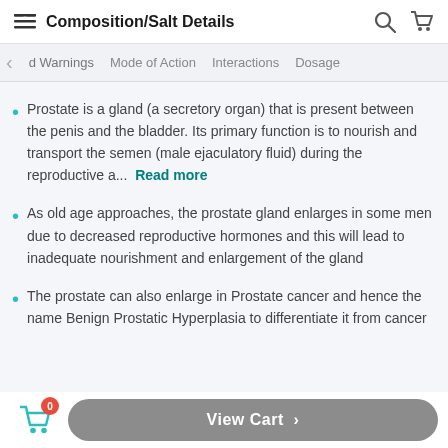Composition/Salt Details
d Warnings  Mode of Action  Interactions  Dosage
Prostate is a gland (a secretory organ) that is present between the penis and the bladder. Its primary function is to nourish and transport the semen (male ejaculatory fluid) during the reproductive a...  Read more
As old age approaches, the prostate gland enlarges in some men due to decreased reproductive hormones and this will lead to inadequate nourishment and enlargement of the gland
The prostate can also enlarge in Prostate cancer and hence the name Benign Prostatic Hyperplasia to differentiate it from cancer
View Cart >